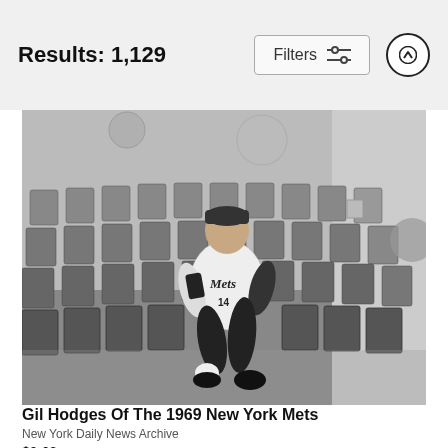Results: 1,129
[Figure (photo): Black and white photo of Gil Hodges in a New York Mets #14 uniform sitting among rows of empty folding chairs in what appears to be a locker room or stadium area]
Gil Hodges Of The 1969 New York Mets
New York Daily News Archive
$9.62